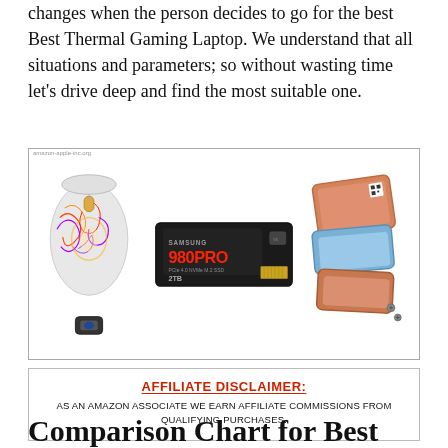changes when the person decides to go for the best Best Thermal Gaming Laptop. We understand that all situations and parameters; so without wasting time let's drive deep and find the most suitable one.
[Figure (photo): Three product images: a white RGB gaming mouse with USB dongle, a Samsung 980 PRO 2TB NVMe SSD, and thermal heatsink pads in blue and copper colors.]
AFFILIATE DISCLAIMER:
AS AN AMAZON ASSOCIATE WE EARN AFFILIATE COMMISSIONS FROM QUALIFYING PURCHASES.
Comparison Chart for Best